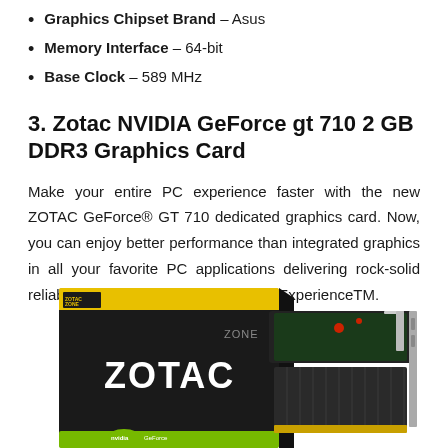Graphics Chipset Brand – Asus
Memory Interface – 64-bit
Base Clock – 589 MHz
3. Zotac NVIDIA GeForce gt 710 2 GB DDR3 Graphics Card
Make your entire PC experience faster with the new ZOTAC GeForce® GT 710 dedicated graphics card. Now, you can enjoy better performance than integrated graphics in all your favorite PC applications delivering rock-solid reliability and stability with GeForce® ExperienceTM.
[Figure (photo): Product photo of Zotac NVIDIA GeForce GT 710 graphics card with its black and yellow retail box, showing the ZOTAC ZONE branding and the graphics card itself beside the box.]